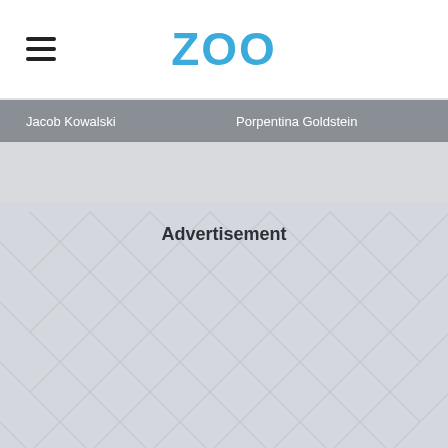ZOO
Jacob Kowalski
Porpentina Goldstein
[Figure (other): Advertisement placeholder with chevron/herringbone pattern background]
Advertisement